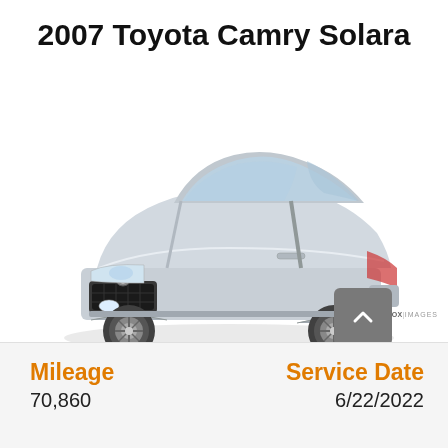2007 Toyota Camry Solara
[Figure (photo): Silver 2007 Toyota Camry Solara coupe shown in 3/4 front view against white background. EVOX IMAGES watermark visible.]
©EVOX IMAGES
Mileage
70,860
Service Date
6/22/2022